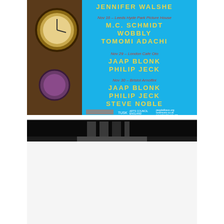[Figure (other): Event poster with cyan/blue background and clock photo on left. Shows JENNIFER WALSHE at top, then Nov 16 Leeds Hyde Park Picture House with M.C. SCHMIDT, WOBBLY, TOMOMI ADACHI; Nov 29 London Cafe Oto with JAAP BLONK, PHILIP JECK; Nov 30 Bristol Arnolfini with JAAP BLONK, PHILIP JECK, STEVE NOBLE. Bottom shows sponsor logos including Sound and Music, TUSK, Arts Council England, and websites peoplelikeus.org, tuskmusic.co.uk, soundandmusic.org.]
[Figure (photo): Dark photograph showing what appears to be a dimly lit interior space, possibly a venue or architectural structure.]